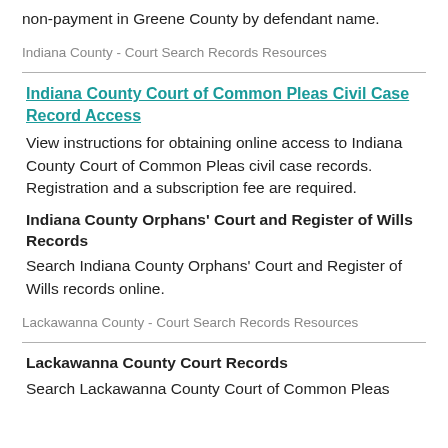non-payment in Greene County by defendant name.
Indiana County - Court Search Records Resources
Indiana County Court of Common Pleas Civil Case Record Access — View instructions for obtaining online access to Indiana County Court of Common Pleas civil case records. Registration and a subscription fee are required.
Indiana County Orphans' Court and Register of Wills Records — Search Indiana County Orphans' Court and Register of Wills records online.
Lackawanna County - Court Search Records Resources
Lackawanna County Court Records — Search Lackawanna County Court of Common Pleas records, including Prothonotary, Register of Wills...